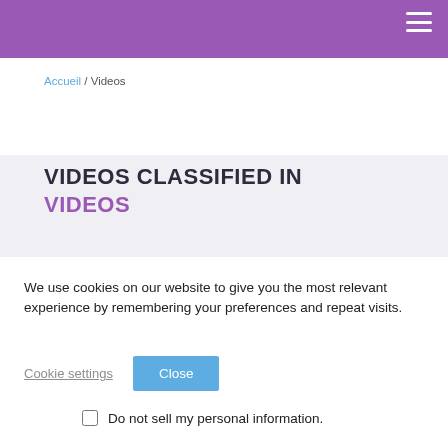Accueil / Videos
VIDEOS CLASSIFIED IN
VIDEOS
We use cookies on our website to give you the most relevant experience by remembering your preferences and repeat visits.
Cookie settings   Close
Do not sell my personal information.